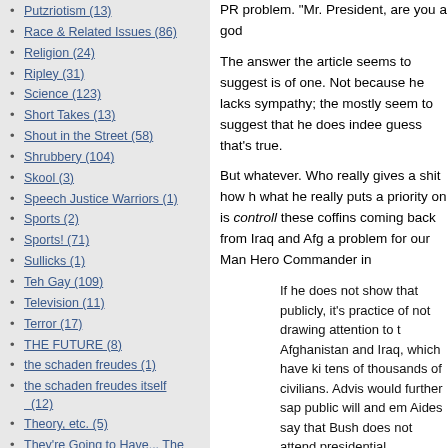Putzriotism (13)
Race & Related Issues (86)
Religion (24)
Ripley (31)
Science (123)
Short Takes (13)
Shout in the Street (58)
Shrubbery (104)
Skool (3)
Speech Justice Warriors (1)
Sports (2)
Sports! (71)
Sullicks (1)
Teh Gay (109)
Television (11)
Terror (17)
THE FUTURE (8)
the schaden freudes (1)
the schaden freudes itself (12)
Theory, etc. (5)
They're Going to Have... The SEX (25)
Torture = Bad (4)
Travel (5)
Troll Safari (20)
Tuesday Night Fights (3)
PR problem. "Mr. President, are you a god...
The answer the article seems to suggest is of one. Not because he lacks sympathy; the mostly seem to suggest that he does indee guess that's true.
But whatever. Who really gives a shit how h what he really puts a priority on is controlling these coffins coming back from Iraq and Afg a problem for our Man Hero Commander in
If he does not show that publicly, it's practice of not drawing attention to t Afghanistan and Iraq, which have ki tens of thousands of civilians. Advis would further sap public will and em Aides say that Bush does not attend presidential entourage would disrup have been banned from photograph Base out of respect. But they also k to the price of the president's policie
If someone is selling you something and w sold a bunch of shit. Ahem.
Now, that bit up there about "advisers worm